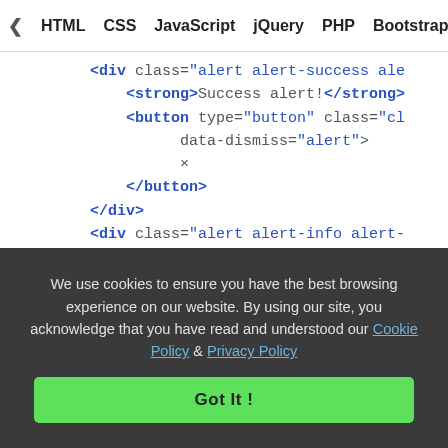< HTML  CSS  JavaScript  jQuery  PHP  Bootstrap  N>
<div class="alert alert-success ale
    <strong>Success alert!</strong>
    <button type="button" class="cl
          data-dismiss="alert">
          ×
    </button>
</div>
<div class="alert alert-info alert-
    <strong>Info alert!</strong>
    <button type="button" class="cl
          data-dismiss="alert">
          ×
    </button>
</div>
<div class="alert alert-warning ale
We use cookies to ensure you have the best browsing experience on our website. By using our site, you acknowledge that you have read and understood our Cookie Policy & Privacy Policy
Got It !